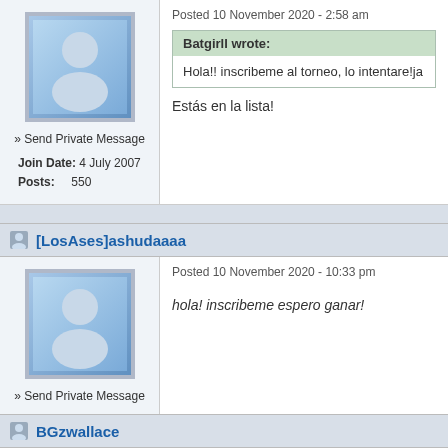Posted 10 November 2020 - 2:58 am
Batgirll wrote:
Hola!! inscribeme al torneo, lo intentare!ja
Estás en la lista!
» Send Private Message
Join Date: 4 July 2007
Posts: 550
[LosAses]ashudaaaa
Posted 10 November 2020 - 10:33 pm
hola! inscribeme espero ganar!
» Send Private Message
Join Date: 5 September 2020
Posts: 1
BGzwallace